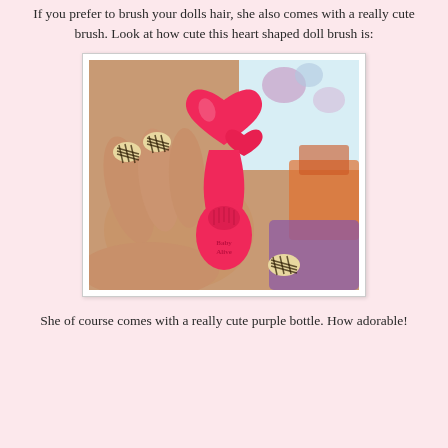If you prefer to brush your dolls hair, she also comes with a really cute brush. Look at how cute this heart shaped doll brush is:
[Figure (photo): A hand holding a bright pink heart-shaped doll brush branded 'Baby Alive'. The brush has a large heart shape on top with a smaller heart below it, and bristles at the bottom. The person's nails have a plaid/tartan pattern.]
She of course comes with a really cute purple bottle. How adorable!